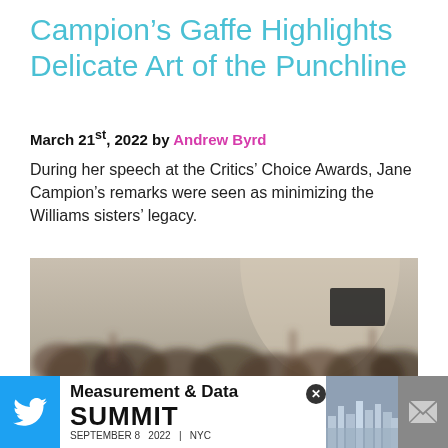Campion’s Gaffe Highlights Delicate Art of the Punchline
March 21st, 2022 by Andrew Byrd
During her speech at the Critics’ Choice Awards, Jane Campion’s remarks were seen as minimizing the Williams sisters’ legacy.
[Figure (photo): Blurred image of an orchestra or large group of musicians/audience in a hall setting]
[Figure (infographic): Advertisement banner: Measurement & Data Summit September 8 2022 NYC, with Twitter bird icon on left, city skyline image, mail icon on right, and close button]